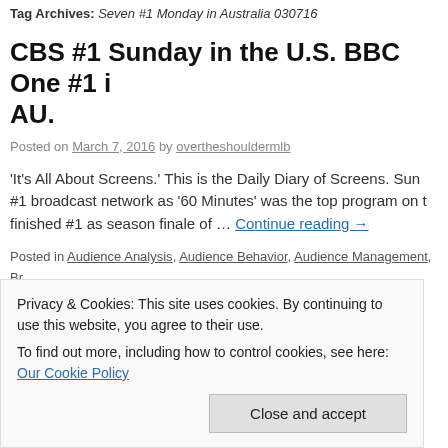Tag Archives: Seven #1 Monday in Australia 030716
CBS #1 Sunday in the U.S. BBC One #1 in AU.
Posted on March 7, 2016 by overtheshouldermlb
'It's All About Screens.' This is the Daily Diary of Screens. Sun… #1 broadcast network as '60 Minutes' was the top program on t… finished #1 as season finale of … Continue reading →
Posted in Audience Analysis, Audience Behavior, Audience Management, Br… TV Ratings in the UK, Broadcast TV Ratings in US, Cable TV Ratings, Cinem… Direct, Hispanic TV Ratings, Late Night TV Ratings, Media, Media Analysis, M… By, Music To Read overtheshouldermedia by, Sunday Night TV Ratings, Tele… Ratings, Today In TV History, Uncategorized, Weekend Box Office | Tagged '2… Debate from Flint MI TV Ratings 030616, '60 Minutes' #1 Sunday 030616, 'A…
Privacy & Cookies: This site uses cookies. By continuing to use this website, you agree to their use.
To find out more, including how to control cookies, see here: Our Cookie Policy